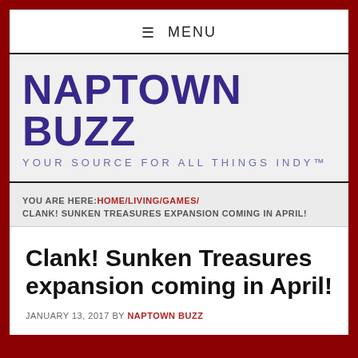≡ MENU
NAPTOWN BUZZ
YOUR SOURCE FOR ALL THINGS INDY™
YOU ARE HERE: HOME/LIVING/GAMES/ CLANK! SUNKEN TREASURES EXPANSION COMING IN APRIL!
Clank! Sunken Treasures expansion coming in April!
JANUARY 13, 2017 BY NAPTOWN BUZZ